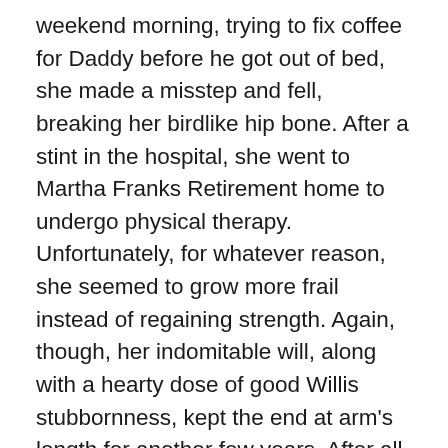weekend morning, trying to fix coffee for Daddy before he got out of bed, she made a misstep and fell, breaking her birdlike hip bone. After a stint in the hospital, she went to Martha Franks Retirement home to undergo physical therapy. Unfortunately, for whatever reason, she seemed to grow more frail instead of regaining strength. Again, though, her indomitable will, along with a hearty dose of good Willis stubbornness, kept the end at arm's length for another few years. After all, she had a family to look after.
In the end, though, the reaper comes for everyone, even tiny precious and greatly beloved grandmothers. Aunt Cathy held her hand as she passed from this world to the next. My two first cousins, my little brother, and I stood watch over her casket at the front of the church where she'd taught Sunday School and sang in the choir for over fifty years, then, when it was time, we closed the lid on her